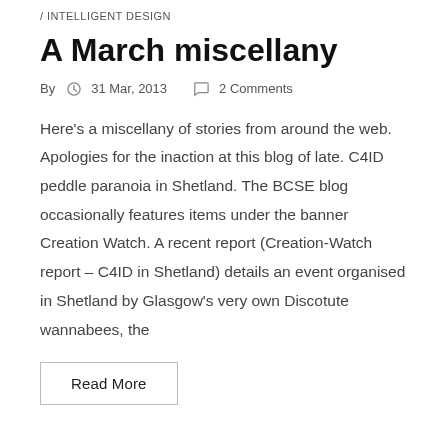/ INTELLIGENT DESIGN
A March miscellany
By  31 Mar, 2013  2 Comments
Here's a miscellany of stories from around the web. Apologies for the inaction at this blog of late. C4ID peddle paranoia in Shetland. The BCSE blog occasionally features items under the banner Creation Watch. A recent report (Creation-Watch report – C4ID in Shetland) details an event organised in Shetland by Glasgow's very own Discotute wannabees, the
Read More